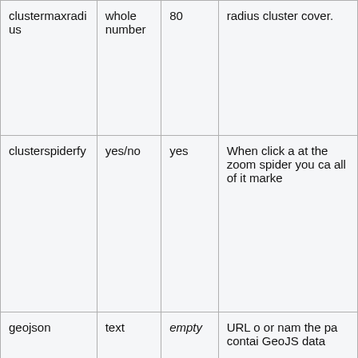| clustermaxradius | whole number | 80 | radius cluster cover. |
| clusterspiderfy | yes/no | yes | When click a at the zoom spider you ca all of it marke |
| geojson | text | empty | URL o or nam the pa contai GeoJS data |
|  |  |  | When |